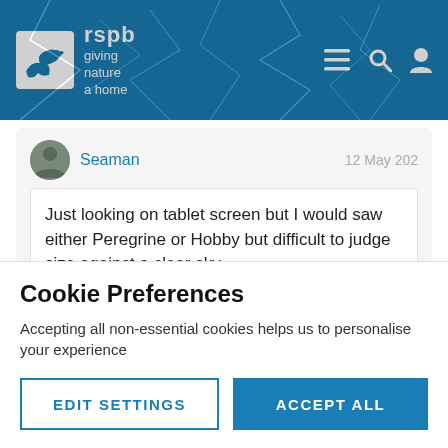[Figure (logo): RSPB logo with bird icon and text 'giving nature a home']
Seaman
12 May 202
Just looking on tablet screen but I would saw either Peregrine or Hobby but difficult to judge size against a clear sky

Pete
Cookie Preferences
Accepting all non-essential cookies helps us to personalise your experience
EDIT SETTINGS
ACCEPT ALL